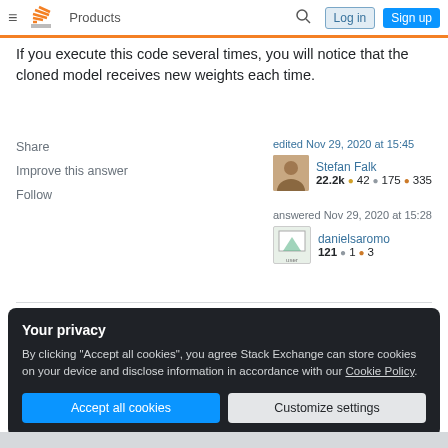Stack Overflow — Products | Log in | Sign up
If you execute this code several times, you will notice that the cloned model receives new weights each time.
Share   Improve this answer   Follow
edited Nov 29, 2020 at 15:45
Stefan Falk
22.2k ● 42 ● 175 ● 335
answered Nov 29, 2020 at 15:28
danielsaromo
121 ● 1 ● 3
Your privacy
By clicking "Accept all cookies", you agree Stack Exchange can store cookies on your device and disclose information in accordance with our Cookie Policy.
Accept all cookies   Customize settings